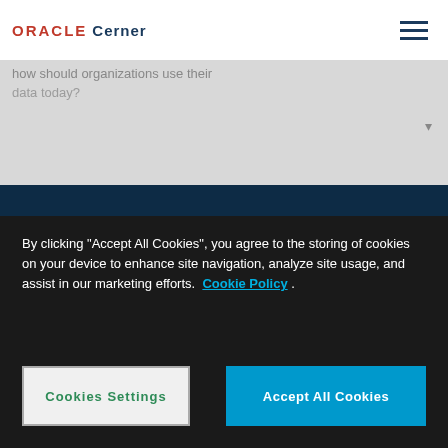ORACLE Cerner
how should organizations use their data today?
Company
About Oracle
Cookie Policy
Perspectives
Privacy
Our Products
Security
By clicking “Accept All Cookies”, you agree to the storing of cookies on your device to enhance site navigation, analyze site usage, and assist in our marketing efforts. Cookie Policy
Cookies Settings
Accept All Cookies